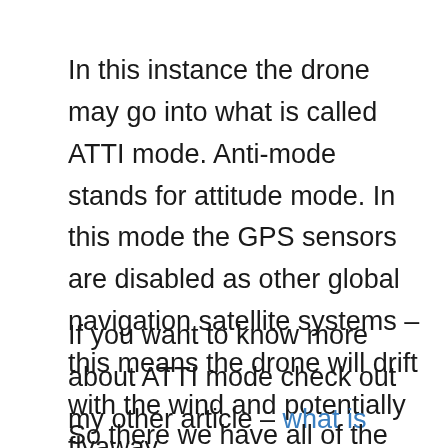In this instance the drone may go into what is called ATTI mode. Anti-mode stands for attitude mode. In this mode the GPS sensors are disabled as other global navigation satellite systems – this means the drone will drift with the wind and potentially flyaway.
If you want to know more about ATTI mode check out my other article – what is drone ATTI mode – click here.
So there we have all of the reasons why